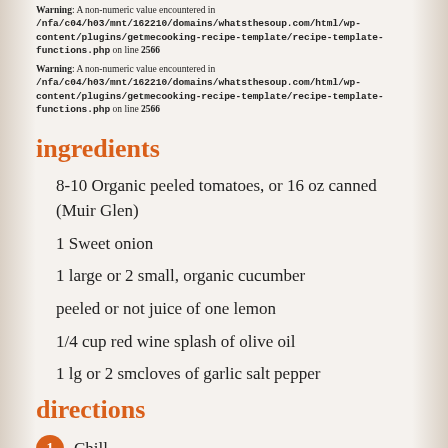Warning: A non-numeric value encountered in /nfa/c04/h03/mnt/162210/domains/whatsthesoup.com/html/wp-content/plugins/getmecooking-recipe-template/recipe-template-functions.php on line 2566
Warning: A non-numeric value encountered in /nfa/c04/h03/mnt/162210/domains/whatsthesoup.com/html/wp-content/plugins/getmecooking-recipe-template/recipe-template-functions.php on line 2566
ingredients
8-10 Organic peeled tomatoes, or 16 oz canned (Muir Glen)
1 Sweet onion
1 large or 2 small, organic cucumber
peeled or not juice of one lemon
1/4 cup red wine splash of olive oil
1 lg or 2 smcloves of garlic salt pepper
directions
1 Chill